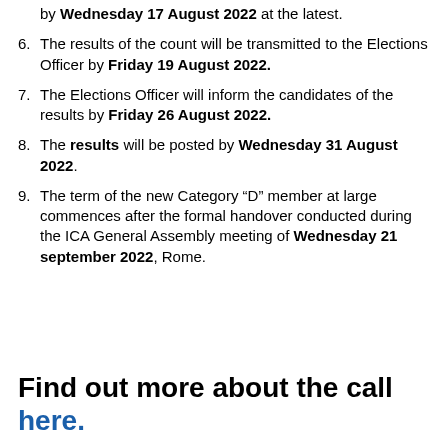by Wednesday 17 August 2022 at the latest.
6. The results of the count will be transmitted to the Elections Officer by Friday 19 August 2022.
7. The Elections Officer will inform the candidates of the results by Friday 26 August 2022.
8. The results will be posted by Wednesday 31 August 2022.
9. The term of the new Category “D” member at large commences after the formal handover conducted during the ICA General Assembly meeting of Wednesday 21 september 2022, Rome.
Find out more about the call here.